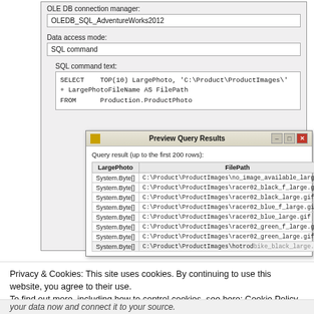[Figure (screenshot): Screenshot of OLE DB Source Editor dialog showing connection manager 'OLEDB_SQL_AdventureWorks2012', data access mode 'SQL command', and SQL command text querying Production.ProductPhoto. A 'Preview Query Results' popup shows a table with LargePhoto and FilePath columns listing System.Byte[] entries and corresponding image file paths.]
Privacy & Cookies: This site uses cookies. By continuing to use this website, you agree to their use. To find out more, including how to control cookies, see here: Cookie Policy
Close and accept
your data now and connect it to your source.